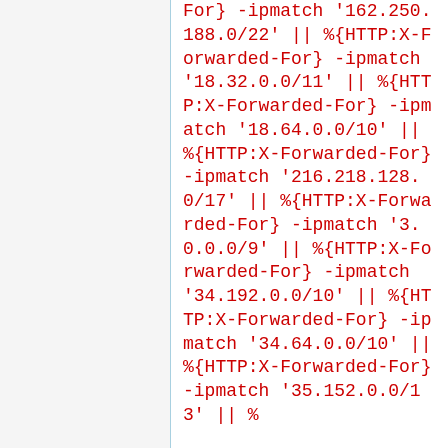For} -ipmatch '162.250.188.0/22' || %{HTTP:X-Forwarded-For} -ipmatch '18.32.0.0/11' || %{HTTP:X-Forwarded-For} -ipmatch '18.64.0.0/10' || %{HTTP:X-Forwarded-For} -ipmatch '216.218.128.0/17' || %{HTTP:X-Forwarded-For} -ipmatch '3.0.0.0/9' || %{HTTP:X-Forwarded-For} -ipmatch '34.192.0.0/10' || %{HTTP:X-Forwarded-For} -ipmatch '34.64.0.0/10' || %{HTTP:X-Forwarded-For} -ipmatch '35.152.0.0/13' || %